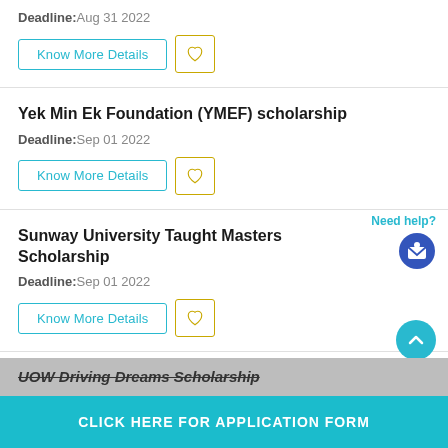Deadline: Aug 31 2022
[Figure (other): Know More Details button and heart/favorite button for first scholarship]
Yek Min Ek Foundation (YMEF) scholarship
Deadline: Sep 01 2022
[Figure (other): Know More Details button and heart/favorite button for YMEF scholarship]
Sunway University Taught Masters Scholarship
Deadline: Sep 01 2022
[Figure (other): Know More Details button and heart/favorite button for Sunway scholarship, with Need help? icon and up arrow button]
UOW Driving Dreams Scholarship
CLICK HERE FOR APPLICATION FORM